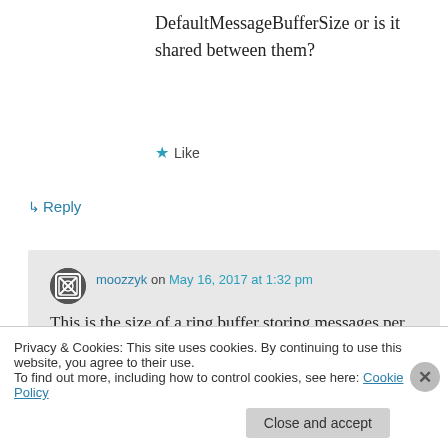DefaultMessageBufferSize or is it shared between them?
★ Like
↳ Reply
moozzyk on May 16, 2017 at 1:32 pm
This is the size of a ring buffer storing messages per connection.
Privacy & Cookies: This site uses cookies. By continuing to use this website, you agree to their use.
To find out more, including how to control cookies, see here: Cookie Policy
Close and accept